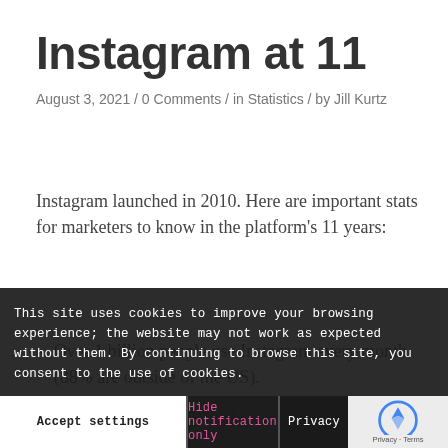Instagram at 11
August 3, 2021 / 0 Comments / in Statistics / by Jill Kurtz
Instagram launched in 2010. Here are important stats for marketers to know in the platform's 11 years:
Over 1 billion people use Instagram every month (88% are outside of the US).
Instagram is the 9th most popular Google search term worldwide.
Instagram is the 9th most popular Google search term worldwide.
In terms of active users, Instagram is
This site uses cookies to improve your browsing experience; the website may not work as expected without them. By continuing to browse this site, you consent to the use of cookies.
Accept settings | Hide notification only | Privacy